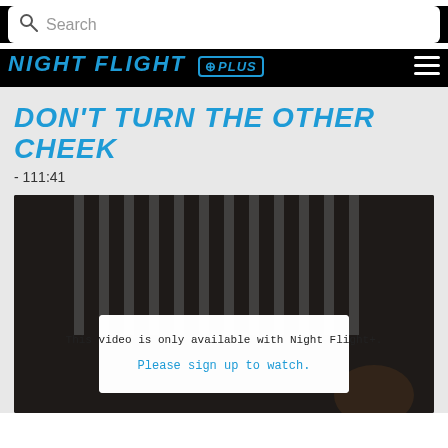Search
[Figure (logo): Night Flight +Plus logo in blue italic bold text with a bordered badge]
DON'T TURN THE OTHER CHEEK
- 111:41
[Figure (screenshot): Video player showing dark background with jail bars, overlaid with a sign-up prompt box]
This video is only available with Night Flight+.
Please sign up to watch.